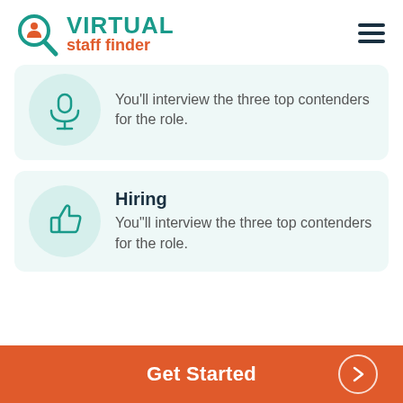[Figure (logo): Virtual Staff Finder logo with magnifying glass icon and person silhouette]
[Figure (illustration): Partial card with microphone icon in teal circle, text cut off: 'You'll interview the three top contenders for the role.']
Hiring
You"ll interview the three top contenders for the role.
Get Started